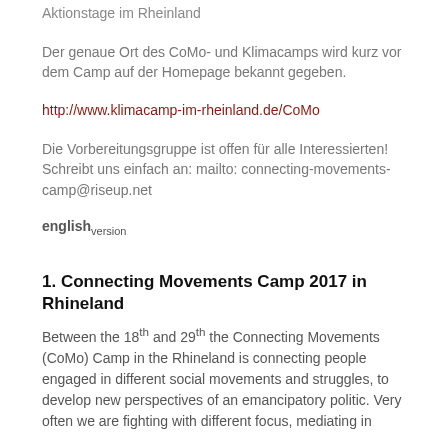Aktionstage im Rheinland
Der genaue Ort des CoMo- und Klimacamps wird kurz vor dem Camp auf der Homepage bekannt gegeben.
http://www.klimacamp-im-rheinland.de/CoMo
Die Vorbereitungsgruppe ist offen für alle Interessierten! Schreibt uns einfach an: mailto: connecting-movements-camp@riseup.net
english version
1. Connecting Movements Camp 2017 in Rhineland
Between the 18th and 29th the Connecting Movements (CoMo) Camp in the Rhineland is connecting people engaged in different social movements and struggles, to develop new perspectives of an emancipatory politic. Very often we are fighting with different focus, mediating in...